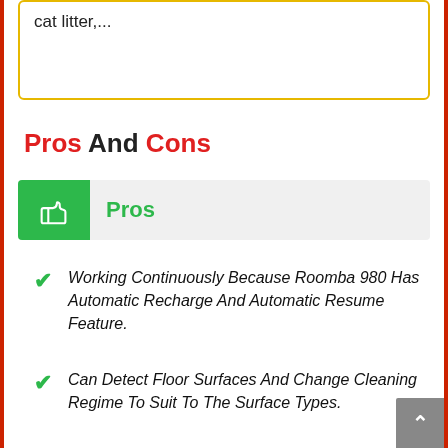cat litter,...
Pros And Cons
Pros
Working Continuously Because Roomba 980 Has Automatic Recharge And Automatic Resume Feature.
Can Detect Floor Surfaces And Change Cleaning Regime To Suit To The Surface Types.